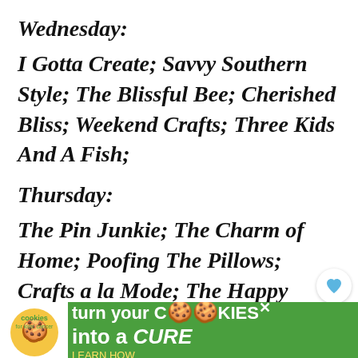Wednesday:
I Gotta Create; Savvy Southern Style; The Blissful Bee; Cherished Bliss; Weekend Crafts; Three Kids And A Fish;
Thursday:
The Pin Junkie; The Charm of Home; Poofing The Pillows; Crafts a la Mode; The Happy Scraps; Milas Little Things Cookin & Craftin; Too Much Time; My Thrift Store Addition; Katherine's Corner; The Scoop on Collective; The Bliss Avenue